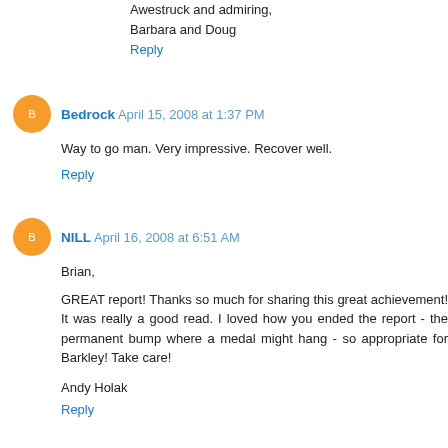Awestruck and admiring,
Barbara and Doug
Reply
Bedrock  April 15, 2008 at 1:37 PM
Way to go man. Very impressive. Recover well.
Reply
NILL  April 16, 2008 at 6:51 AM
Brian,
GREAT report! Thanks so much for sharing this great achievement! It was really a good read. I loved how you ended the report - the permanent bump where a medal might hang - so appropriate for Barkley! Take care!
Andy Holak
Reply